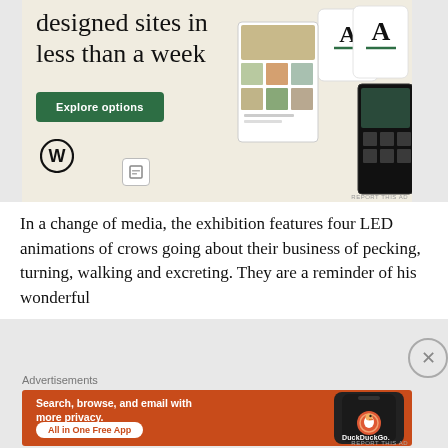[Figure (screenshot): WordPress advertisement showing 'designed sites in less than a week' with Explore options button, WordPress logo, and website mockup screenshots on a beige background]
In a change of media, the exhibition features four LED animations of crows going about their business of pecking, turning, walking and excreting.  They are a reminder of his wonderful
Advertisements
[Figure (screenshot): DuckDuckGo advertisement on orange/red background: 'Search, browse, and email with more privacy. All in One Free App' with phone mockup showing DuckDuckGo logo]